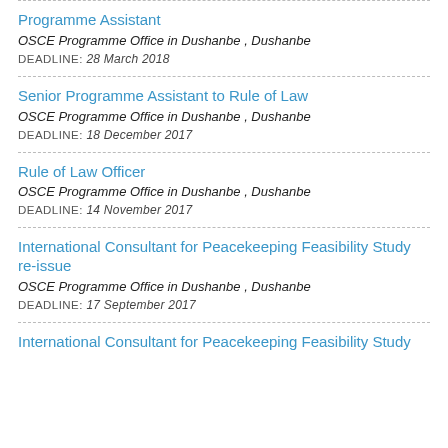Programme Assistant
OSCE Programme Office in Dushanbe , Dushanbe
DEADLINE: 28 March 2018
Senior Programme Assistant to Rule of Law
OSCE Programme Office in Dushanbe , Dushanbe
DEADLINE: 18 December 2017
Rule of Law Officer
OSCE Programme Office in Dushanbe , Dushanbe
DEADLINE: 14 November 2017
International Consultant for Peacekeeping Feasibility Study re-issue
OSCE Programme Office in Dushanbe , Dushanbe
DEADLINE: 17 September 2017
International Consultant for Peacekeeping Feasibility Study